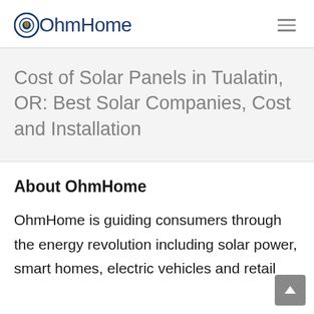OhmHome
Cost of Solar Panels in Tualatin, OR: Best Solar Companies, Cost and Installation
About OhmHome
OhmHome is guiding consumers through the energy revolution including solar power, smart homes, electric vehicles and retail electricity.